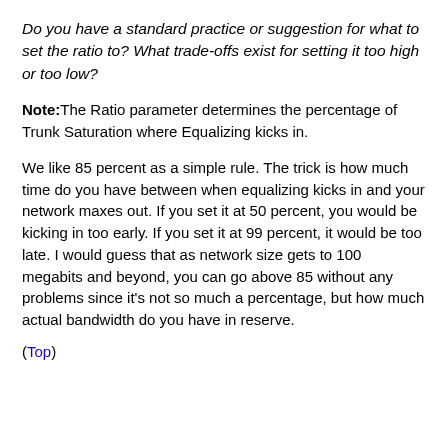Do you have a standard practice or suggestion for what to set the ratio to? What trade-offs exist for setting it too high or too low?
Note: The Ratio parameter determines the percentage of Trunk Saturation where Equalizing kicks in.
We like 85 percent as a simple rule. The trick is how much time do you have between when equalizing kicks in and your network maxes out. If you set it at 50 percent, you would be kicking in too early. If you set it at 99 percent, it would be too late. I would guess that as network size gets to 100 megabits and beyond, you can go above 85 without any problems since it's not so much a percentage, but how much actual bandwidth do you have in reserve.
(Top)